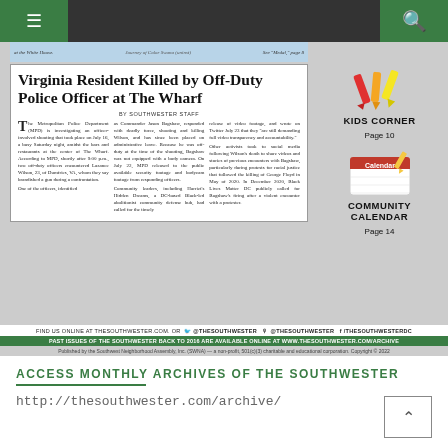Navigation bar with hamburger menu and search icon
[Figure (screenshot): Screenshot of The Southwester newspaper webpage showing article about Virginia Resident Killed by Off-Duty Police Officer at The Wharf, with Kids Corner and Community Calendar sidebar items, social media links, and archive bar.]
Virginia Resident Killed by Off-Duty Police Officer at The Wharf
BY SOUTHWESTER STAFF
The Metropolitan Police Department (MPD) is investigating an officer-involved shooting that took place on July 16, a busy Saturday night, amidst the bars and restaurants at the center of The Wharf. According to MPD, shortly after 9:00 p.m., two off-duty officers encountered Lazance Wilson, 23, of Dumfries, VA, whom they say brandished a gun during a confrontation.
One of the officers, identified as Commander Jason Bagshaw, responded with deadly force, shooting and killing Wilson, and has since been placed on administrative leave. Because he was off-duty at the time of the shooting, Bagshaw was not equipped with a body camera. On July 22, MPD released to the public available security footage and bodycam footage from responding officers.
Community leaders, including Harriet's Hidden Dreams, a DC-based Black-led abolitionist community defense hub, had called for the timely release of video footage, and wrote on Twitter July 23 that they "are still demanding full video transparency and accountability."
Other activists took to social media following Wilson's death to share videos and stories of previous encounters with Bagshaw, particularly during protests for racial justice that followed the killing of George Floyd in May of 2020. In December 2020, Black Lives Matter DC publicly called for Bagshaw's firing after a violent encounter with a protester.
KIDS CORNER
Page 10
COMMUNITY CALENDAR
Page 14
FIND US ONLINE AT THESOUTHWESTER.COM. OR @THESOUTHWESTER @THESOUTHWESTER /THESOUTHWESTERDC
PAST ISSUES OF THE SOUTHWESTER BACK TO 2016 ARE AVAILABLE ONLINE AT WWW.THESOUTHWESTER.COM/ARCHIVE
Published by the Southwest Neighborhood Assembly, Inc. (SWNA) — a non-profit, 501(c)(3) charitable and educational corporation. Copyright © 2022
ACCESS MONTHLY ARCHIVES OF THE SOUTHWESTER
http://thesouthwester.com/archive/